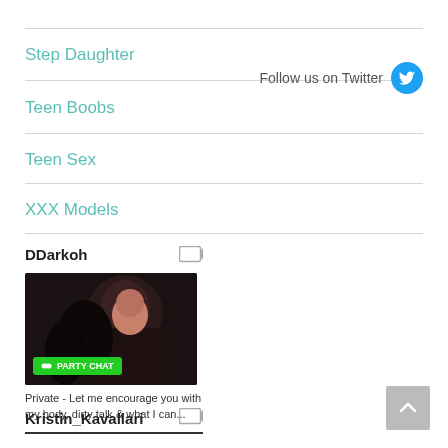Step Daughter
Teen Boobs
Teen Sex
XXX Models
Follow us on Twitter
DDarkoh
[Figure (photo): Thumbnail image of DDarkoh with PARTY CHAT button overlay]
Private - Let me encourage you with my body, dirty talk & what I can...
Kristin_Kavallari